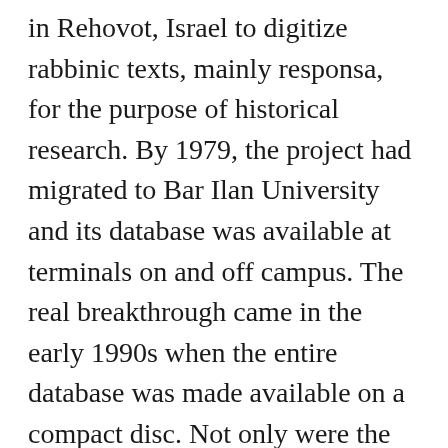in Rehovot, Israel to digitize rabbinic texts, mainly responsa, for the purpose of historical research. By 1979, the project had migrated to Bar Ilan University and its database was available at terminals on and off campus. The real breakthrough came in the early 1990s when the entire database was made available on a compact disc. Not only were the contents of a formidable Judaic library encoded in a small bit of plastic, but these contents were searchable. The vast erudition that characterizes the greatest talmudic scholars could now be replicated by a computer, inducing anxiety on the part of